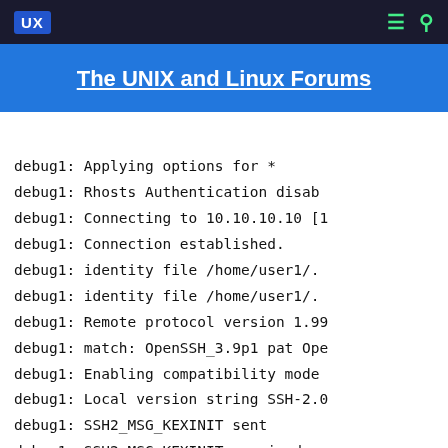UX | The UNIX and Linux Forums
The UNIX and Linux Forums
debug1: Applying options for *
debug1: Rhosts Authentication disab
debug1: Connecting to 10.10.10.10 [1
debug1: Connection established.
debug1: identity file /home/user1/.
debug1: identity file /home/user1/.
debug1: Remote protocol version 1.99
debug1: match: OpenSSH_3.9p1 pat Ope
debug1: Enabling compatibility mode
debug1: Local version string SSH-2.0
debug1: SSH2_MSG_KEXINIT sent
debug1: SSH2_MSG_KEXINIT received
debug1: kex: server->client aes128-
debug1: kex: client->server aes128-